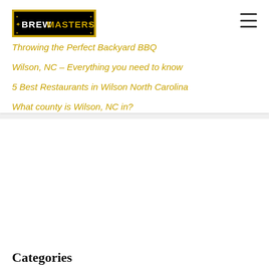[Figure (logo): Brewmasters logo — black background with gold border, 'BREW' in white and 'MASTERS' in gold text]
Throwing the Perfect Backyard BBQ
Wilson, NC – Everything you need to know
5 Best Restaurants in Wilson North Carolina
What county is Wilson, NC in?
Categories
Catering (1)
Goldsboro, NC (1)
Wedding Planning (3)
Wilson, NC (5)